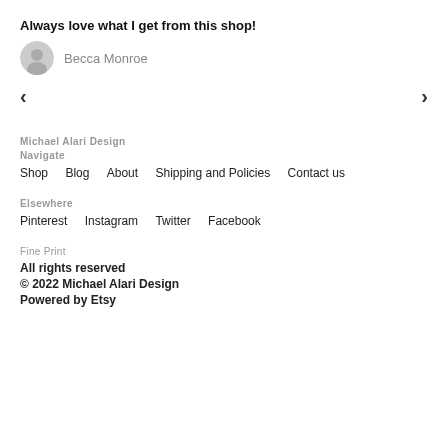Always love what I get from this shop!
Becca Monroe
< >
Michael Alari Design
Navigate
Shop   Blog   About   Shipping and Policies   Contact us
Elsewhere
Pinterest   Instagram   Twitter   Facebook
Fine Print
All rights reserved
© 2022 Michael Alari Design
Powered by Etsy